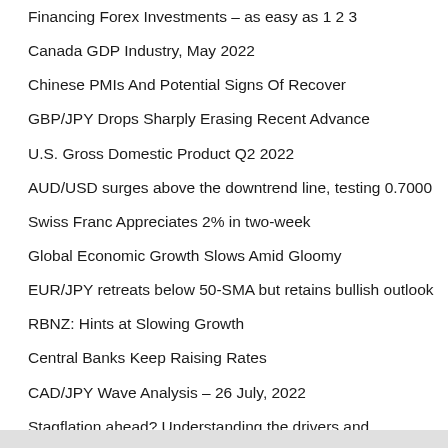Financing Forex Investments – as easy as 1 2 3
Canada GDP Industry, May 2022
Chinese PMIs And Potential Signs Of Recover
GBP/JPY Drops Sharply Erasing Recent Advance
U.S. Gross Domestic Product Q2 2022
AUD/USD surges above the downtrend line, testing 0.7000
Swiss Franc Appreciates 2% in two-week
Global Economic Growth Slows Amid Gloomy
EUR/JPY retreats below 50-SMA but retains bullish outlook
RBNZ: Hints at Slowing Growth
Central Banks Keep Raising Rates
CAD/JPY Wave Analysis – 26 July, 2022
Stagflation ahead? Understanding the drivers and